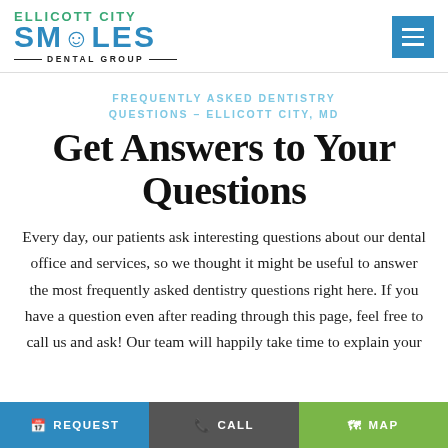ELLICOTT CITY SMILES DENTAL GROUP
FREQUENTLY ASKED DENTISTRY QUESTIONS – ELLICOTT CITY, MD
Get Answers to Your Questions
Every day, our patients ask interesting questions about our dental office and services, so we thought it might be useful to answer the most frequently asked dentistry questions right here. If you have a question even after reading through this page, feel free to call us and ask! Our team will happily take time to explain your
REQUEST  CALL  MAP